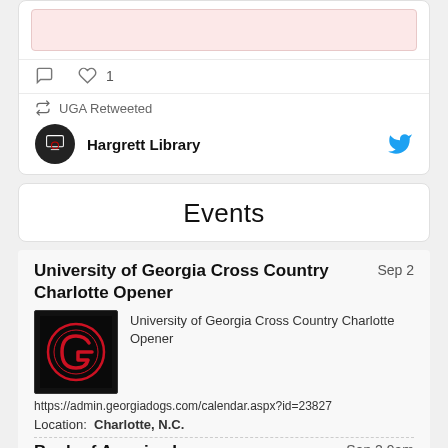[Figure (screenshot): Top portion of a social media card showing a pinkish image placeholder, action icons (comment, heart with count 1), and a retweet notification with Hargrett Library and Twitter bird icon]
Events
University of Georgia Cross Country Charlotte Opener   Sep 2
[Figure (logo): University of Georgia 'G' logo on black background]
University of Georgia Cross Country Charlotte Opener
https://admin.georgiadogs.com/calendar.aspx?id=23827
Location:  Charlotte, N.C.
Bank of America I   Sep 2 9am